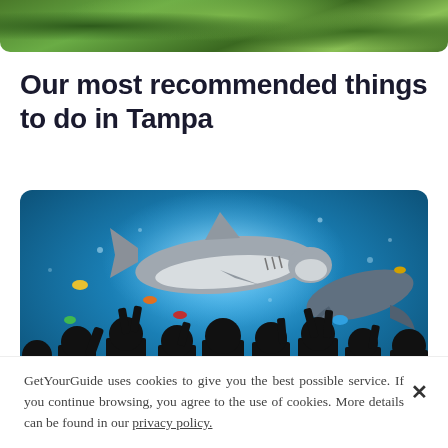[Figure (photo): Top portion of a photo showing green tropical foliage/trees, partially cropped at top of page]
Our most recommended things to do in Tampa
[Figure (photo): Underwater aquarium scene showing a shark swimming above silhouettes of people taking photos against a large blue aquarium tank with rays and fish]
GetYourGuide uses cookies to give you the best possible service. If you continue browsing, you agree to the use of cookies. More details can be found in our privacy policy.